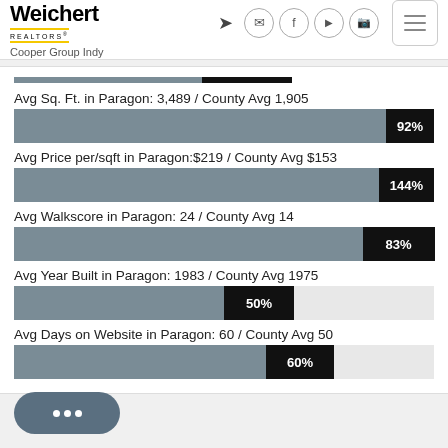[Figure (logo): Weichert Realtors Cooper Group Indy logo with yellow underline]
[Figure (bar-chart): Neighborhood Statistics - Paragon vs County Average]
Avg Sq. Ft. in Paragon: 3,489 / County Avg 1,905
Avg Price per/sqft in Paragon:$219 / County Avg $153
Avg Walkscore in Paragon: 24 / County Avg 14
Avg Year Built in Paragon: 1983 / County Avg 1975
Avg Days on Website in Paragon: 60 / County Avg 50